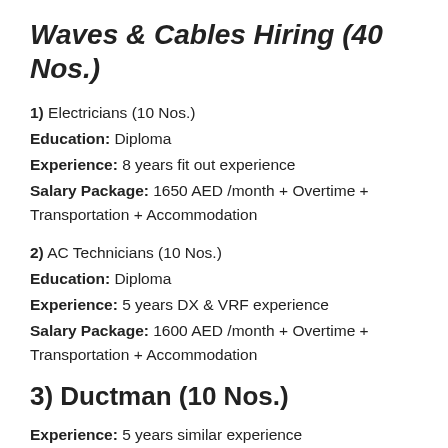Waves & Cables Hiring (40 Nos.)
1) Electricians (10 Nos.)
Education: Diploma
Experience: 8 years fit out experience
Salary Package: 1650 AED /month + Overtime + Transportation + Accommodation
2) AC Technicians (10 Nos.)
Education: Diploma
Experience: 5 years DX & VRF experience
Salary Package: 1600 AED /month + Overtime + Transportation + Accommodation
3) Ductman (10 Nos.)
Experience: 5 years similar experience